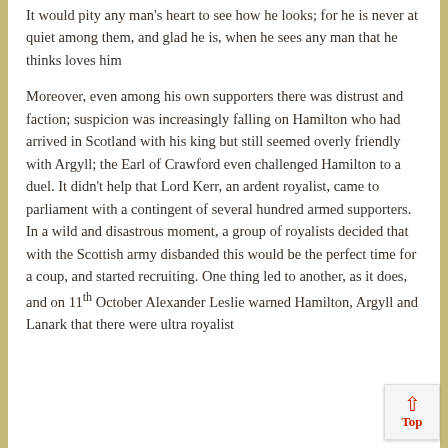It would pity any man's heart to see how he looks; for he is never at quiet among them, and glad he is, when he sees any man that he thinks loves him
Moreover, even among his own supporters there was distrust and faction; suspicion was increasingly falling on Hamilton who had arrived in Scotland with his king but still seemed overly friendly with Argyll; the Earl of Crawford even challenged Hamilton to a duel. It didn't help that Lord Kerr, an ardent royalist, came to parliament with a contingent of several hundred armed supporters. In a wild and disastrous moment, a group of royalists decided that with the Scottish army disbanded this would be the perfect time for a coup, and started recruiting. One thing led to another, as it does, and on 11th October Alexander Leslie warned Hamilton, Argyll and Lanark that there were ultra royalist